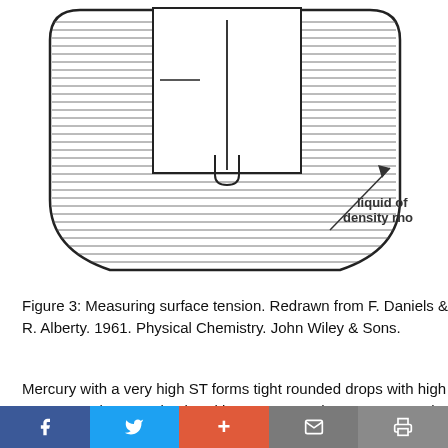[Figure (illustration): A scientific diagram showing a container with liquid of density rho. Inside the container is a U-shaped or tube apparatus partially submerged in the hatched liquid. An arrow points to the liquid with the label 'liquid of density rho'.]
Figure 3: Measuring surface tension. Redrawn from F. Daniels & R. Alberty. 1961. Physical Chemistry. John Wiley & Sons.
Mercury with a very high ST forms tight rounded drops with high contact angles. Imagine breaking a mercury thermometer, and then trying to coax a droplet back into